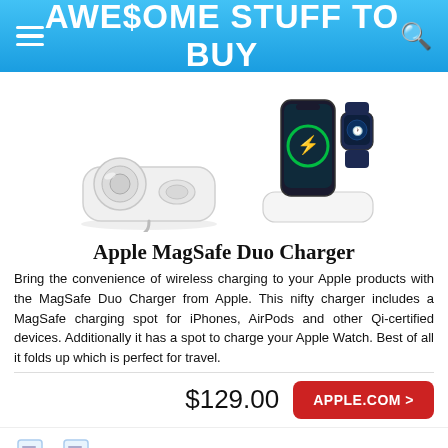AWE$OME STUFF TO BUY
[Figure (photo): Apple MagSafe Duo Charger product photos: flat charger with two pads on the left, and an iPhone with Apple Watch on the charging pad on the right]
Apple MagSafe Duo Charger
Bring the convenience of wireless charging to your Apple products with the MagSafe Duo Charger from Apple. This nifty charger includes a MagSafe charging spot for iPhones, AirPods and other Qi-certified devices. Additionally it has a spot to charge your Apple Watch. Best of all it folds up which is perfect for travel.
$129.00
APPLE.COM >